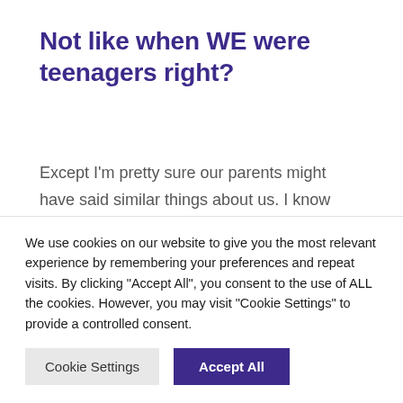Not like when WE were teenagers right?
Except I'm pretty sure our parents might have said similar things about us. I know they definitely said that about my brother ☺
We use cookies on our website to give you the most relevant experience by remembering your preferences and repeat visits. By clicking "Accept All", you consent to the use of ALL the cookies. However, you may visit "Cookie Settings" to provide a controlled consent.